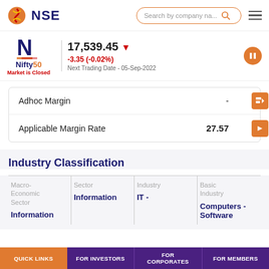NSE | Search by company na...
Nifty50 17,539.45 ▼ -3.35 (-0.02%) Market is Closed Next Trading Date - 05-Sep-2022
| Label | Value |
| --- | --- |
| Adhoc Margin | - |
| Applicable Margin Rate | 27.57 |
Industry Classification
| Macro-Economic Sector | Sector | Industry | Basic Industry |
| --- | --- | --- | --- |
| Information | Information | IT - | Computers - Software |
QUICK LINKS | FOR INVESTORS | FOR CORPORATES | FOR MEMBERS